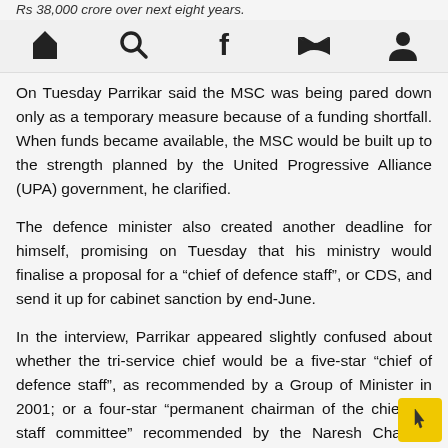Rs 38,000 crore over next eight years.
[Figure (other): Navigation bar with icons: home, search, facebook, twitter, user/profile]
On Tuesday Parrikar said the MSC was being pared down only as a temporary measure because of a funding shortfall. When funds became available, the MSC would be built up to the strength planned by the United Progressive Alliance (UPA) government, he clarified.
The defence minister also created another deadline for himself, promising on Tuesday that his ministry would finalise a proposal for a “chief of defence staff”, or CDS, and send it up for cabinet sanction by end-June.
In the interview, Parrikar appeared slightly confused about whether the tri-service chief would be a five-star “chief of defence staff”, as recommended by a Group of Minister in 2001; or a four-star “permanent chairman of the chiefs of staff committee” recommended by the Naresh Chandra Committee in 2012.